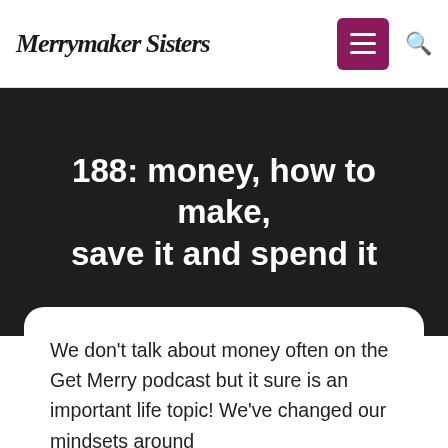Merrymaker Sisters
188: money, how to make, save it and spend it
We don't talk about money often on the Get Merry podcast but it sure is an important life topic! We've changed our mindsets around